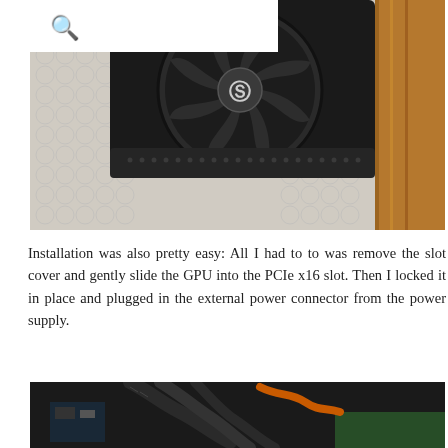[Figure (photo): Close-up photo of a GPU fan (EVGA brand) sitting in bubble wrap packaging with a wooden surface visible on the right side.]
Installation was also pretty easy: All I had to to was remove the slot cover and gently slide the GPU into the PCIe x16 slot. Then I locked it in place and plugged in the external power connector from the power supply.
[Figure (photo): Photo of the inside of a computer case showing braided cables, circuit boards, and wiring.]